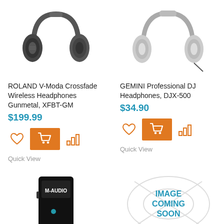[Figure (photo): Black ROLAND V-Moda Crossfade Wireless Headphones Gunmetal]
[Figure (photo): Silver GEMINI Professional DJ Headphones DJX-500]
ROLAND V-Moda Crossfade Wireless Headphones Gunmetal, XFBT-GM
$199.99
Quick View
GEMINI Professional DJ Headphones, DJX-500
$34.90
Quick View
[Figure (photo): M-AUDIO device product photo]
[Figure (illustration): IMAGE COMING SOON placeholder graphic]